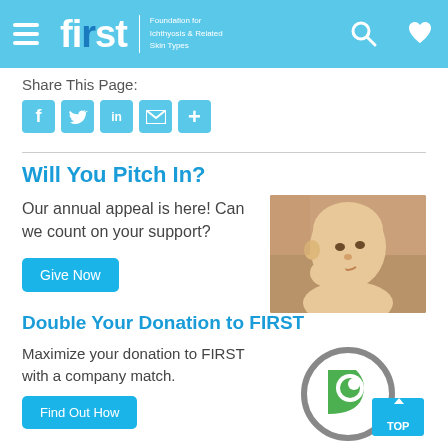first — Foundation for Ichthyosis & Related Skin Types
Share This Page:
Social share icons: Facebook, Twitter, LinkedIn, Email, Plus
Will You Pitch In?
Our annual appeal is here! Can we count on your support?
[Figure (photo): Photo of a baby looking at camera with hand raised near face]
Give Now
Double Your Donation to FIRST
Maximize your donation to FIRST with a company match.
[Figure (logo): Double the Donation logo with circle graphic and TOP button overlay]
Find Out How